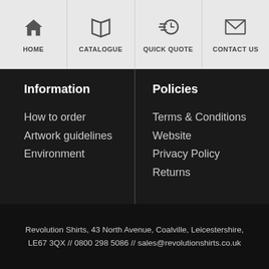[Figure (screenshot): Navigation bar with Home, Catalogue, Quick Quote, Contact Us icons]
Information
How to order
Artwork guidelines
Environment
Policies
Terms & Conditions
Website
Privacy Policy
Returns
Help
FAQ
Contact us
About us
Follow us
Facebook
Google Plus
Twitter
YouTube
Revolution Shirts, 43 North Avenue, Coalville, Leicestershire, LE67 3QX // 0800 298 5086 // sales@revolutionshirts.co.uk